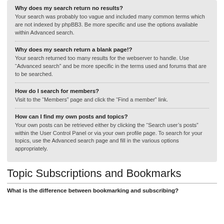Why does my search return no results?
Your search was probably too vague and included many common terms which are not indexed by phpBB3. Be more specific and use the options available within Advanced search.
Why does my search return a blank page!?
Your search returned too many results for the webserver to handle. Use “Advanced search” and be more specific in the terms used and forums that are to be searched.
How do I search for members?
Visit to the “Members” page and click the “Find a member” link.
How can I find my own posts and topics?
Your own posts can be retrieved either by clicking the “Search user’s posts” within the User Control Panel or via your own profile page. To search for your topics, use the Advanced search page and fill in the various options appropriately.
Topic Subscriptions and Bookmarks
What is the difference between bookmarking and subscribing?